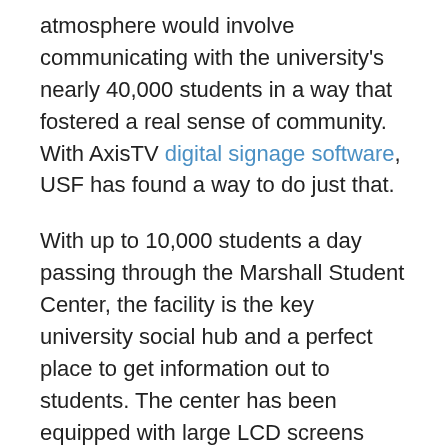atmosphere would involve communicating with the university's nearly 40,000 students in a way that fostered a real sense of community. With AxisTV digital signage software, USF has found a way to do just that.
With up to 10,000 students a day passing through the Marshall Student Center, the facility is the key university social hub and a perfect place to get information out to students. The center has been equipped with large LCD screens powered by AxisTV media players. The screens are located strategically across the facility's four floors in heavily trafficked areas such as the food court, ballroom, theater and in the conference wing.
“Since we have five players running 18 screens,